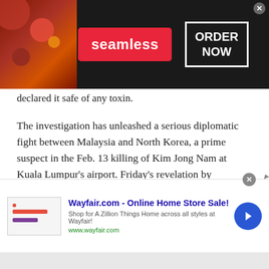[Figure (screenshot): Seamless food delivery advertisement banner with pizza image on left, red 'seamless' button in center, and 'ORDER NOW' text in white box on right, on dark background]
declared it safe of any toxin.
The investigation has unleashed a serious diplomatic fight between Malaysia and North Korea, a prime suspect in the Feb. 13 killing of Kim Jong Nam at Kuala Lumpur's airport. Friday's revelation by Malaysian police that the banned chemical weapon VX nerve agent was used to kill Kim raised the stakes significantly in a case that has broad geopolitical implications.
[Figure (screenshot): Wayfair.com online home store advertisement with thumbnail image, text 'Wayfair.com - Online Home Store Sale!', description 'Shop for A Zillion Things Home across all styles at Wayfair!', URL 'www.wayfair.com', and blue arrow button on right]